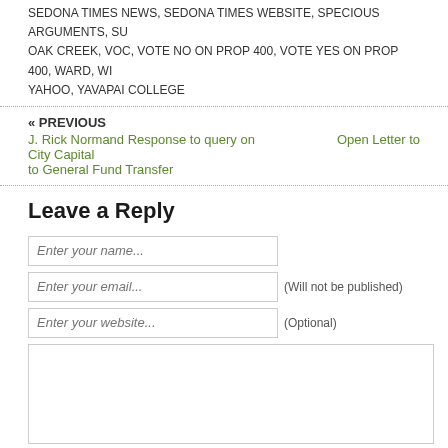SEDONA TIMES NEWS, SEDONA TIMES WEBSITE, SPECIOUS ARGUMENTS, SU OAK CREEK, VOC, VOTE NO ON PROP 400, VOTE YES ON PROP 400, WARD, WI YAHOO, YAVAPAI COLLEGE
« PREVIOUS
J. Rick Normand Response to query on City Capital to General Fund Transfer
Open Letter to
Leave a Reply
Enter your name...
Enter your email... (Will not be published)
Enter your website... (Optional)
Submit